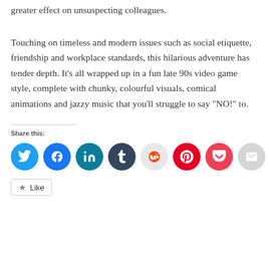greater effect on unsuspecting colleagues.
Touching on timeless and modern issues such as social etiquette, friendship and workplace standards, this hilarious adventure has tender depth. It’s all wrapped up in a fun late 90s video game style, complete with chunky, colourful visuals, comical animations and jazzy music that you’ll struggle to say “NO!” to.
Share this:
[Figure (infographic): Row of social media share buttons: Twitter (teal), Facebook (blue), LinkedIn (dark teal), Tumblr (dark navy), Reddit (light gray), Pinterest (red), Pocket (dark pink/red), Email (light gray)]
Like